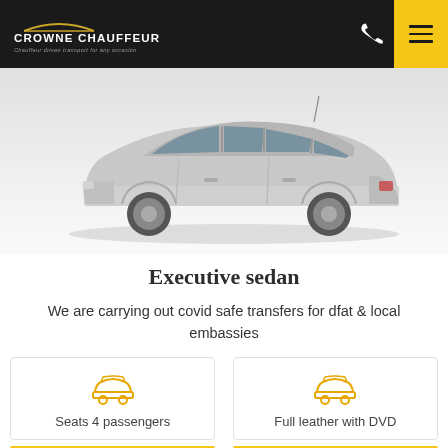Crowne Chauffeur — Chauffeur driven transport for any occasion
[Figure (photo): Silver executive sedan car photographed from the side, on a light grey gradient background]
Executive sedan
We are carrying out covid safe transfers for dfat & local embassies
Seats 4 passengers
Full leather with DVD